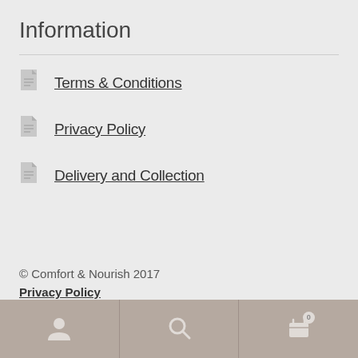Information
Terms & Conditions
Privacy Policy
Delivery and Collection
© Comfort & Nourish 2017
Privacy Policy